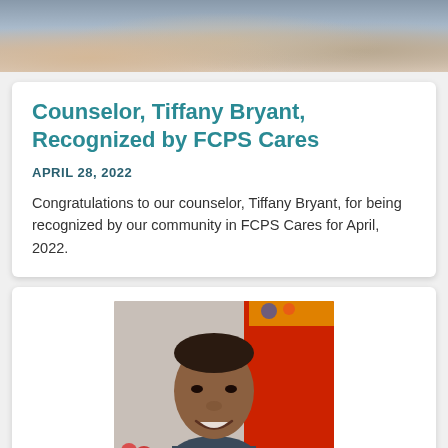[Figure (photo): Top portion of a group photo showing people from approximately waist up, partially cropped]
Counselor, Tiffany Bryant, Recognized by FCPS Cares
APRIL 28, 2022
Congratulations to our counselor, Tiffany Bryant, for being recognized by our community in FCPS Cares for April, 2022.
[Figure (photo): Portrait photo of a smiling man with short hair, wearing a patterned shirt, standing in front of a red background with flowers visible in the lower left]